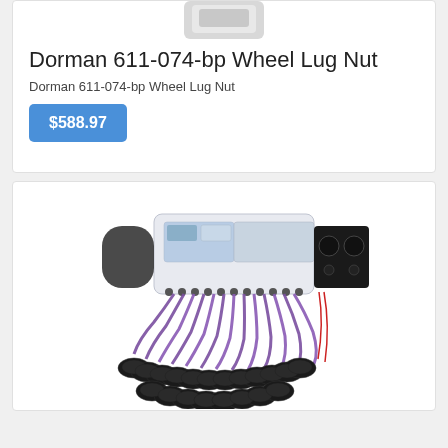[Figure (photo): Partial view of a product (Dorman 611-074-bp Wheel Lug Nut) at the top of the first card, cut off at the top edge]
Dorman 611-074-bp Wheel Lug Nut
Dorman 611-074-bp Wheel Lug Nut
$588.97
[Figure (photo): Medical/therapy device with purple electrode wires and circular electrode pads, resembling an electrotherapy or EMS unit with a white control box and multiple channels]